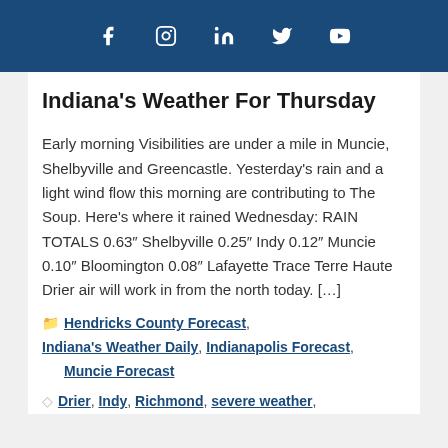Social media icons: Facebook, Instagram, LinkedIn, Twitter, YouTube
Indiana's Weather For Thursday
Early morning Visibilities are under a mile in Muncie, Shelbyville and Greencastle. Yesterday's rain and a light wind flow this morning are contributing to The Soup. Here's where it rained Wednesday: RAIN TOTALS 0.63" Shelbyville 0.25" Indy 0.12" Muncie 0.10" Bloomington 0.08" Lafayette Trace Terre Haute Drier air will work in from the north today. […]
Hendricks County Forecast, Indiana's Weather Daily, Indianapolis Forecast, Muncie Forecast
Drier, Indy, Richmond, severe weather,